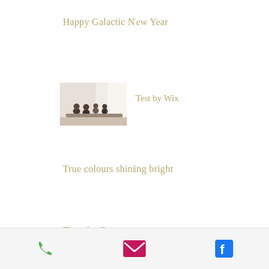Happy Galactic New Year
[Figure (photo): Small thumbnail photo of people seated around a table in a bright room, possibly a meeting or meditation session]
Test by Wix
True colours shining bright
Time for Rest
Phone, Email, and Facebook icons